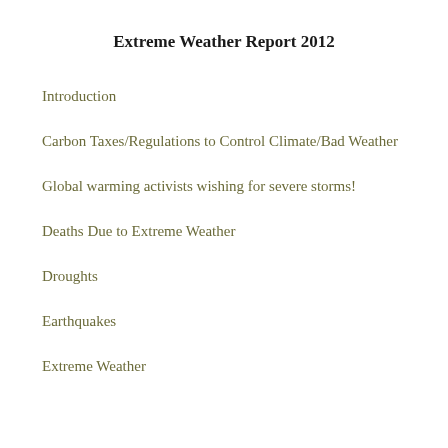Extreme Weather Report 2012
Introduction
Carbon Taxes/Regulations to Control Climate/Bad Weather
Global warming activists wishing for severe storms!
Deaths Due to Extreme Weather
Droughts
Earthquakes
Extreme Weather